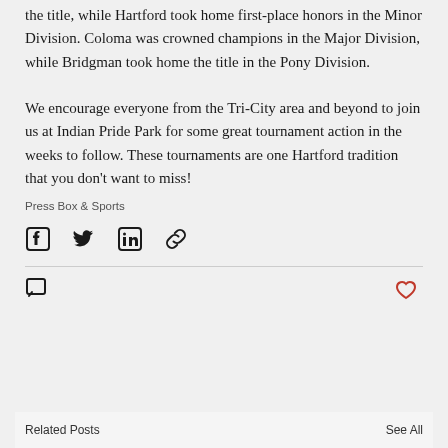the title, while Hartford took home first-place honors in the Minor Division. Coloma was crowned champions in the Major Division, while Bridgman took home the title in the Pony Division. We encourage everyone from the Tri-City area and beyond to join us at Indian Pride Park for some great tournament action in the weeks to follow. These tournaments are one Hartford tradition that you don't want to miss!
Press Box & Sports
[Figure (other): Social share icons: Facebook, Twitter, LinkedIn, Link/chain]
[Figure (other): Action row with comment bubble icon on left and heart/like icon (red outline) on right]
Related Posts
See All